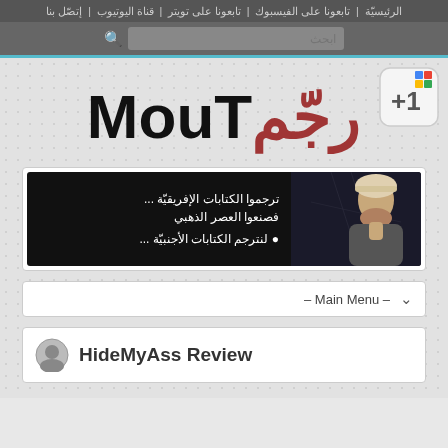الرئيسيّة | تابعونا على الفيسبوك | تابعونا على تويتر | قناة اليوتيوب | إتصّل بنا
[Figure (screenshot): Search bar with Arabic placeholder text 'ابحث' and magnifier icon]
MouTرجّم
[Figure (illustration): Google +1 button icon with colored squares and +1 text]
[Figure (photo): Dark banner with Arabic text: ترجموا الكتابات الإفريقيّة ... فصنعوا العصر الذهبي لنترجم الكتابات الأجنبيّة ... and an image of a man in traditional Arabic attire]
– Main Menu –
HideMyAss Review